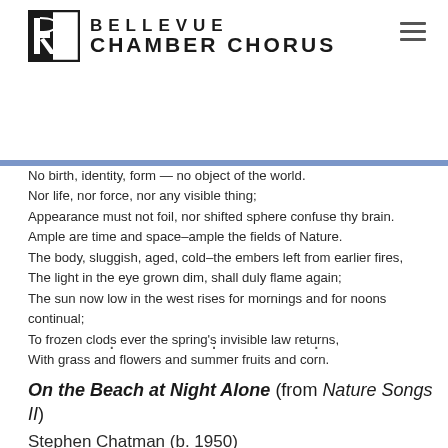BELLEVUE CHAMBER CHORUS
No birth, identity, form — no object of the world.
Nor life, nor force, nor any visible thing;
Appearance must not foil, nor shifted sphere confuse thy brain.
Ample are time and space–ample the fields of Nature.
The body, sluggish, aged, cold–the embers left from earlier fires,
The light in the eye grown dim, shall duly flame again;
The sun now low in the west rises for mornings and for noons continual;
To frozen clods ever the spring's invisible law returns,
With grass and flowers and summer fruits and corn.
· · ·
On the Beach at Night Alone (from Nature Songs II)
Stephen Chatman (b. 1950)